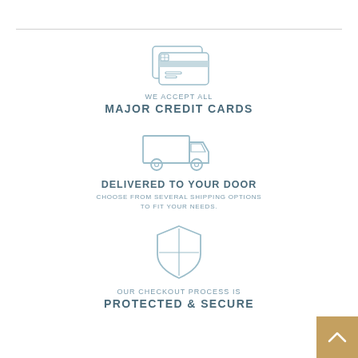[Figure (illustration): Credit cards icon in light blue outline style]
WE ACCEPT ALL
MAJOR CREDIT CARDS
[Figure (illustration): Delivery truck icon in light blue outline style]
DELIVERED TO YOUR DOOR
CHOOSE FROM SEVERAL SHIPPING OPTIONS TO FIT YOUR NEEDS.
[Figure (illustration): Shield/security icon in light blue outline style]
OUR CHECKOUT PROCESS IS
PROTECTED & SECURE
[Figure (illustration): Gold back-to-top button with chevron arrow]